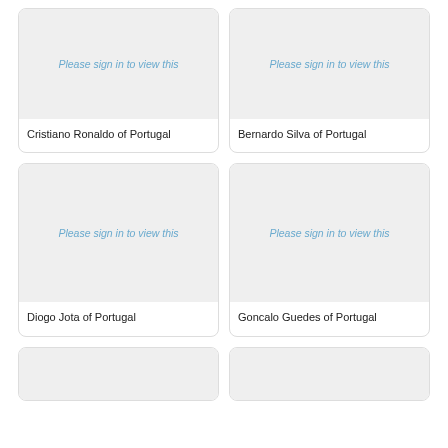[Figure (photo): Placeholder image for Cristiano Ronaldo of Portugal – sign in to view]
Cristiano Ronaldo of Portugal
[Figure (photo): Placeholder image for Bernardo Silva of Portugal – sign in to view]
Bernardo Silva of Portugal
[Figure (photo): Placeholder image for Diogo Jota of Portugal – sign in to view]
Diogo Jota of Portugal
[Figure (photo): Placeholder image for Goncalo Guedes of Portugal – sign in to view]
Goncalo Guedes of Portugal
[Figure (photo): Placeholder image (partial, bottom row left) – sign in to view]
[Figure (photo): Placeholder image (partial, bottom row right) – sign in to view]